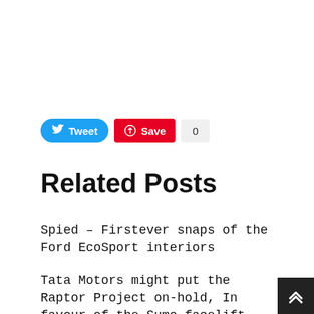[Figure (screenshot): Social sharing buttons: Tweet (blue), Save (red Pinterest), and a count showing 0]
Related Posts
Spied – Firstever snaps of the Ford EcoSport interiors
Tata Motors might put the Raptor Project on-hold, In favour of the Sumo facelift